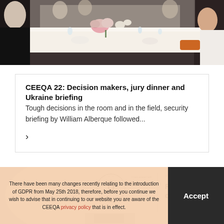[Figure (photo): People seated at a formal dinner table with flowers and glassware, shot from above/side angle]
CEEQA 22: Decision makers, jury dinner and Ukraine briefing
Tough decisions in the room and in the field, security briefing by William Alberque followed...
[Figure (photo): Award ceremony backdrop showing CEEQA logo, Deloitte sponsor logo, and 'Retail Development of the Year' award category text]
There have been many changes recently relating to the introduction of GDPR from May 25th 2018, therefore, before you continue we wish to advise that in continuing to our website you are aware of the CEEQA privacy policy that is in effect.
Accept